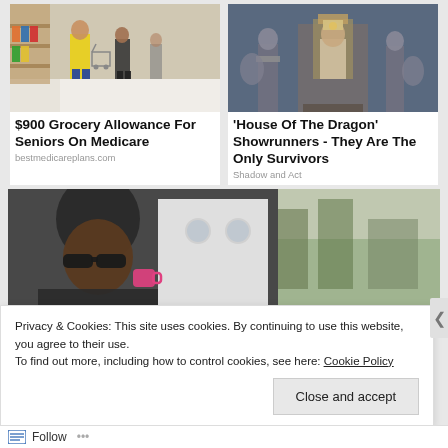[Figure (photo): People shopping in a grocery store aisle, one person in yellow raincoat with shopping cart]
[Figure (photo): Scene from 'House of the Dragon' TV show with characters in medieval costumes on a throne set]
$900 Grocery Allowance For Seniors On Medicare
bestmedicareplans.com
'House Of The Dragon' Showrunners - They Are The Only Survivors
Shadow and Act
[Figure (photo): Person wearing sunglasses and dark cap near a vehicle, with a field in background]
Privacy & Cookies: This site uses cookies. By continuing to use this website, you agree to their use.
To find out more, including how to control cookies, see here: Cookie Policy
Close and accept
Follow